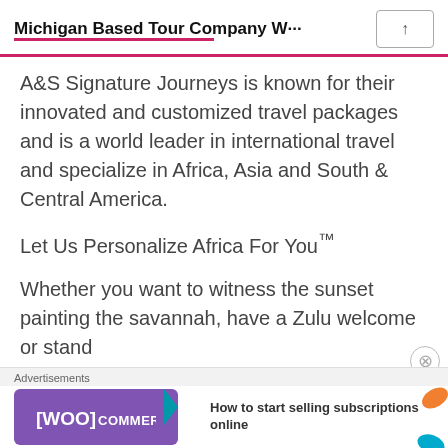Michigan Based Tour Company W···
A&S Signature Journeys is known for their innovated and customized travel packages and is a world leader in international travel and specialize in Africa, Asia and South & Central America.
Let Us Personalize Africa For You™
Whether you want to witness the sunset painting the savannah, have a Zulu welcome or stand
[Figure (screenshot): WooCommerce advertisement banner: 'How to start selling subscriptions online']